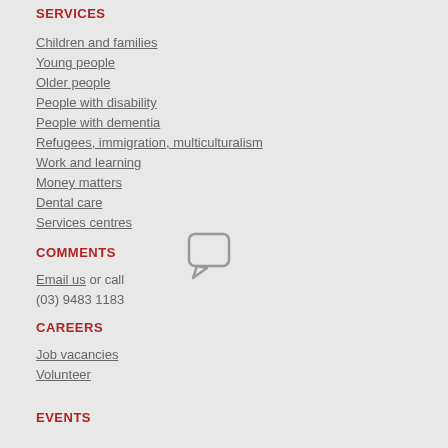SERVICES
Children and families
Young people
Older people
People with disability
People with dementia
Refugees, immigration, multiculturalism
Work and learning
Money matters
Dental care
Services centres
COMMENTS
[Figure (illustration): Speech bubble / comment icon outline]
Email us or call
(03) 9483 1183
CAREERS
Job vacancies
Volunteer
EVENTS